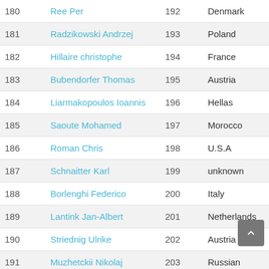| # | Name | ID | Country |
| --- | --- | --- | --- |
| 180 | Ree Per | 192 | Denmark |
| 181 | Radzikowski Andrzej | 193 | Poland |
| 182 | Hillaire christophe | 194 | France |
| 183 | Bubendorfer Thomas | 195 | Austria |
| 184 | Liarmakopoulos Ioannis | 196 | Hellas |
| 185 | Saoute Mohamed | 197 | Morocco |
| 186 | Roman Chris | 198 | U.S.A |
| 187 | Schnaitter Karl | 199 | unknown |
| 188 | Borlenghi Federico | 200 | Italy |
| 189 | Lantink Jan-Albert | 201 | Netherlands |
| 190 | Striednig Ulrike | 202 | Austria |
| 191 | Muzhetckii Nikolaj | 203 | Russian |